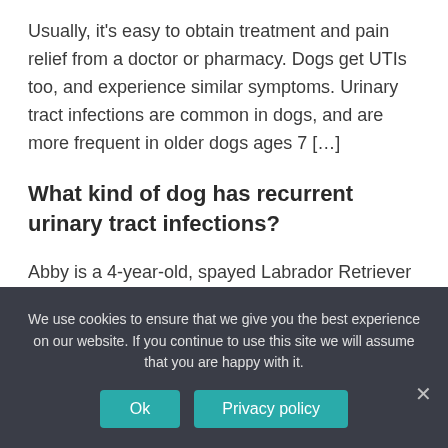Usually, it's easy to obtain treatment and pain relief from a doctor or pharmacy. Dogs get UTIs too, and experience similar symptoms. Urinary tract infections are common in dogs, and are more frequent in older dogs ages 7 […]
What kind of dog has recurrent urinary tract infections?
Abby is a 4-year-old, spayed Labrador Retriever who
We use cookies to ensure that we give you the best experience on our website. If you continue to use this site we will assume that you are happy with it.